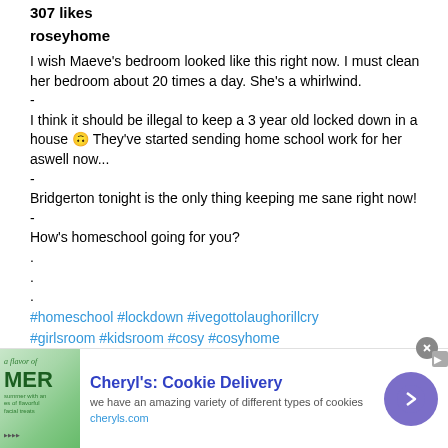307 likes
roseyhome
I wish Maeve's bedroom looked like this right now. I must clean her bedroom about 20 times a day. She's a whirlwind.
-
I think it should be illegal to keep a 3 year old locked down in a house 🙃 They've started sending home school work for her aswell now...
-
Bridgerton tonight is the only thing keeping me sane right now!
-
How's homeschool going for you?
.
.
.
#homeschool #lockdown #ivegottolaughorillcry #girlsroom #kidsroom #cosy #cosyhome #allwhiteverything #scandistyle #cornersofmyhome
[Figure (other): Advertisement banner: Cheryl's Cookie Delivery ad with image of summer treats on the left, bold headline 'Cheryl's: Cookie Delivery', description text 'we have an amazing variety of different types of cookies', URL 'cheryls.com', and a purple arrow button on the right.]